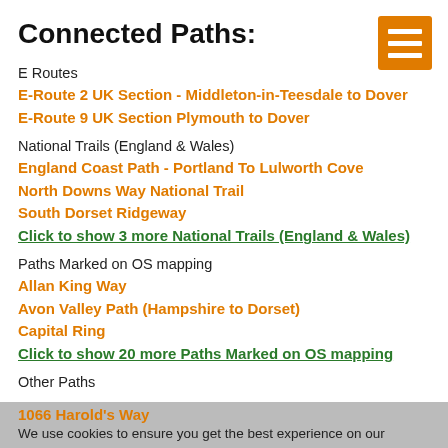Connected Paths:
[Figure (other): Orange hamburger menu icon (three horizontal white lines on orange background)]
E Routes
E-Route 2 UK Section - Middleton-in-Teesdale to Dover
E-Route 9 UK Section Plymouth to Dover
National Trails (England & Wales)
England Coast Path - Portland To Lulworth Cove
North Downs Way National Trail
South Dorset Ridgeway
Click to show 3 more National Trails (England & Wales)
Paths Marked on OS mapping
Allan King Way
Avon Valley Path (Hampshire to Dorset)
Capital Ring
Click to show 20 more Paths Marked on OS mapping
Other Paths
1066 Harold's Way
We use cookies to ensure you get the best experience on our